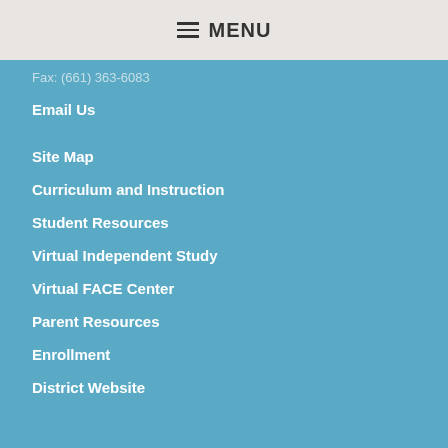☰ MENU
Fax: (661) 363-6083
Email Us
Site Map
Curriculum and Instruction
Student Resources
Virtual Independent Study
Virtual FACE Center
Parent Resources
Enrollment
District Website